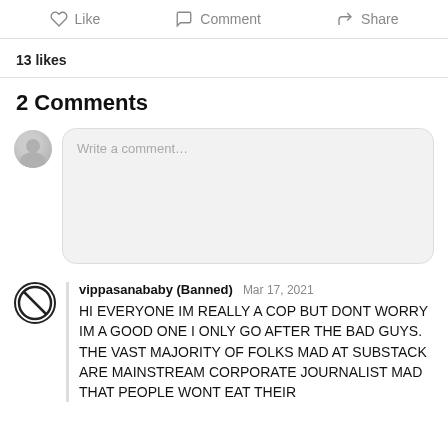Like   Comment   Share
13 likes
2 Comments
Write a comment…
vippasanababy (Banned)   Mar 17, 2021
HI EVERYONE IM REALLY A COP BUT DONT WORRY IM A GOOD ONE I ONLY GO AFTER THE BAD GUYS. THE VAST MAJORITY OF FOLKS MAD AT SUBSTACK ARE MAINSTREAM CORPORATE JOURNALIST MAD THAT PEOPLE WONT EAT THEIR